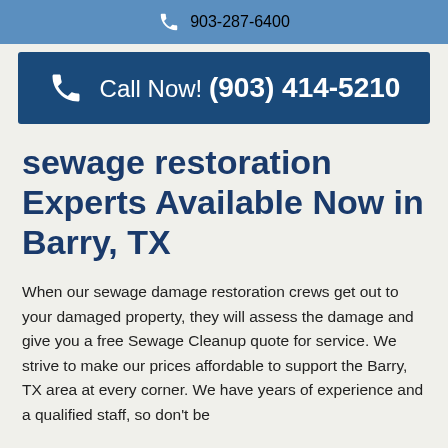903-287-6400
Call Now! (903) 414-5210
sewage restoration Experts Available Now in Barry, TX
When our sewage damage restoration crews get out to your damaged property, they will assess the damage and give you a free Sewage Cleanup quote for service. We strive to make our prices affordable to support the Barry, TX area at every corner. We have years of experience and a qualified staff, so don't be